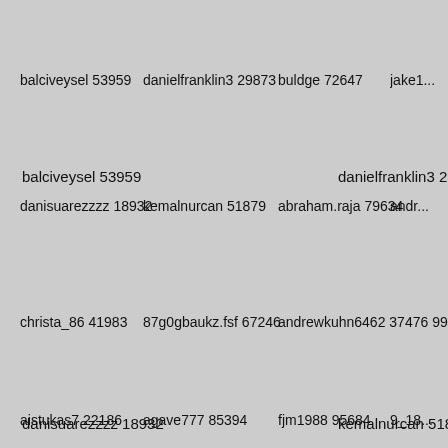balciveysel 53959
danielfranklin3 29873
buldge 72647
jake...
danisuarezzzz 18932
kemalnurcan 51879
abraham.raja 79634
andr...
christa_86 41983
87g0gbaukz.fsf 67246
andrewkuhn6462 37476 99gu...
aistukas7 22186
agave777 85394
fjm1988 95684
9_18...